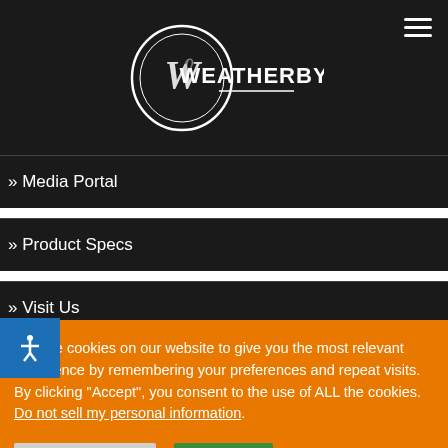[Figure (logo): Weatherby logo — circular emblem with overlapping W letters and the text WEATHERBY]
» Media Portal
» Product Specs
» Visit Us
We use cookies on our website to give you the most relevant experience by remembering your preferences and repeat visits. By clicking "Accept", you consent to the use of ALL the cookies. Do not sell my personal information.
Cookie Settings  Accept